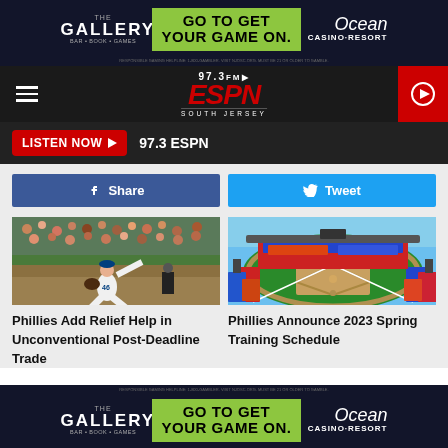[Figure (screenshot): The Gallery Bar + Book + Games advertisement banner with 'GO TO GET YOUR GAME ON.' in green and Ocean Casino Resort logo on dark navy background]
97.3 ESPN South Jersey radio station navigation bar with hamburger menu, ESPN logo, and play button
LISTEN NOW ▶  97.3 ESPN
[Figure (other): Facebook Share button (blue) and Twitter Tweet button (light blue) side by side]
[Figure (photo): Baseball pitcher in white uniform (#46) mid-throw on baseball field with crowd in background]
[Figure (photo): Aerial view of a spring training baseball stadium filled with colorful crowd]
Phillies Add Relief Help in Unconventional Post-Deadline Trade
Phillies Announce 2023 Spring Training Schedule
[Figure (screenshot): The Gallery Bar + Book + Games advertisement banner with 'GO TO GET YOUR GAME ON.' in green and Ocean Casino Resort logo on dark navy background (bottom)]